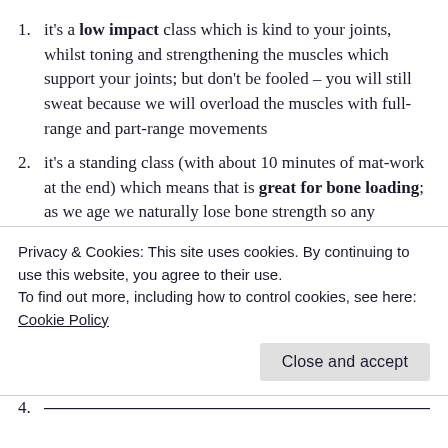it's a low impact class which is kind to your joints, whilst toning and strengthening the muscles which support your joints; but don't be fooled – you will still sweat because we will overload the muscles with full-range and part-range movements
it's a standing class (with about 10 minutes of mat-work at the end) which means that is great for bone loading; as we age we naturally lose bone strength so any exercise that is weight-bearing actively promotes our bone health
barre pilates exercises focus on your butt, legs and [continues below]
Privacy & Cookies: This site uses cookies. By continuing to use this website, you agree to their use. To find out more, including how to control cookies, see here: Cookie Policy
[partial item 4 — cut off at bottom of page]